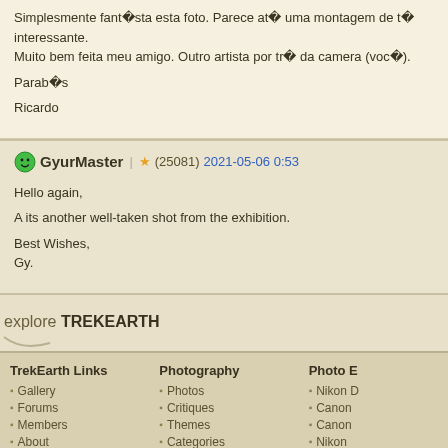Simplesmente fantasia esta foto. Parece at  uma montagem de t  interessante. Muito bem feita meu amigo. Outro artista por tr  da camera (voc ).
Parab s
Ricardo
GyurMaster | (25081) 2021-05-06 0:53
Hello again,
A its another well-taken shot from the exhibition.
Best Wishes,
Gy.
explore TREKEARTH
TrekEarth Links
Gallery
Forums
Members
About
Photography
Photos
Critiques
Themes
Categories
Photo E
Nikon D
Canon
Canon
Nikon